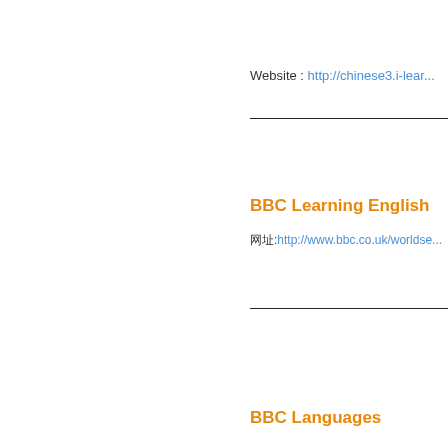Website : http://chinese3.i-lear...
BBC Learning English
网址:http://www.bbc.co.uk/worldse...
BBC Languages